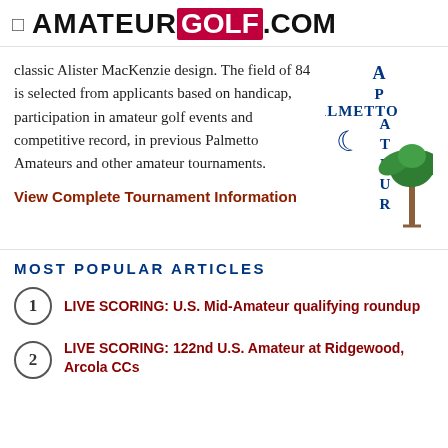AMATEUREGOLF.COM
classic Alister MacKenzie design. The field of 84 is selected from applicants based on handicap, participation in amateur golf events and competitive record, in previous Palmetto Amateurs and other amateur tournaments.
[Figure (logo): Palmetto Amateur logo with crescent moon, palm tree, and vertical text reading 'A PALMETTO A T E U R']
View Complete Tournament Information
MOST POPULAR ARTICLES
1 LIVE SCORING: U.S. Mid-Amateur qualifying roundup
2 LIVE SCORING: 122nd U.S. Amateur at Ridgewood, Arcola CCs